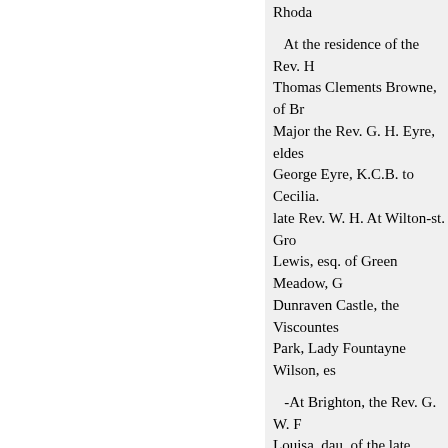Rhoda
At the residence of the Rev. H Thomas Clements Browne, of Br Major the Rev. G. H. Eyre, eldes George Eyre, K.C.B. to Cecilia. late Rev. W. H. At Wilton-st. Gro Lewis, esq. of Green Meadow, G Dunraven Castle, the Viscountes Park, Lady Fountayne Wilson, es
-At Brighton, the Rev. G. W. F Louisa, dau. of the late AnMrs. A Kyme, GENT. Mag, VOL. XXII
Lincolnshire.At Ampthill, the Re Wilstead, Beds, to garet-Louis, e James Hay, and grand-dau. of the Martin's-inWhitaker, Vicar of Oa Arundel-Charlotte, only dau. of t and niece of John D. Sinith, esq. ment.At Christchurch, Surrey, Fr M.D., of Great Surrey-st. of Wal R.N. K.T.S., and Lady Eleanor F